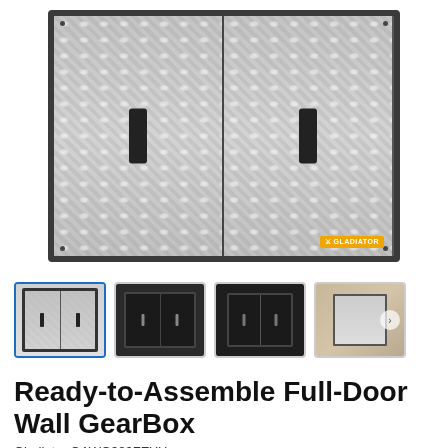[Figure (photo): Main product image: Gladiator Ready-to-Assemble Full-Door Wall GearBox cabinet with silver diamond-plate textured doors, dark frame, two vertical door handles, Gladiator logo badge at bottom right.]
[Figure (photo): Thumbnail 1 (selected): Silver diamond-plate two-door wall cabinet, front view.]
[Figure (photo): Thumbnail 2: Dark/black two-door wall cabinet, front view.]
[Figure (photo): Thumbnail 3: Dark/black two-door wall cabinet, slightly different angle.]
[Figure (photo): Thumbnail 4: Photo of cabinet mounted on wall in a garage setting, with navigation arrow.]
Ready-to-Assemble Full-Door Wall GearBox
Gladiator GAWG302FEU...